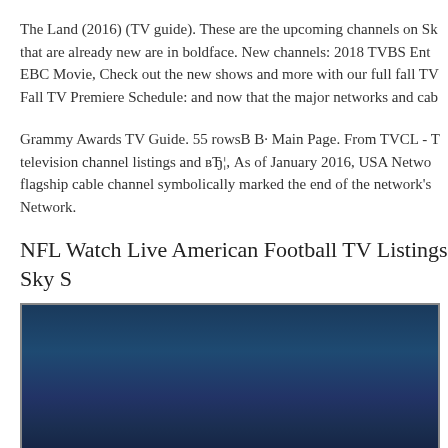The Land (2016) (TV guide). These are the upcoming channels on Sk... that are already new are in boldface. New channels: 2018 TVBS Ent... EBC Movie, Check out the new shows and more with our full fall TV... Fall TV Premiere Schedule: and now that the major networks and cab...
Grammy Awards TV Guide. 55 rowsB B· Main Page. From TVCL - T... television channel listings and вЂ¦, As of January 2016, USA Netwo... flagship cable channel symbolically marked the end of the network's... Network.
NFL Watch Live American Football TV Listings Sky S
[Figure (photo): Dark blue gradient background image, possibly a screenshot or promotional image related to NFL/football TV listings on Sky Sports.]